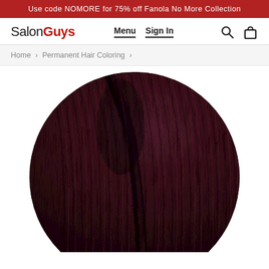Use code NOMORE for 75% off Fanola No More Collection
[Figure (logo): SalonGuys logo with 'Salon' in black and 'Guys' in red, with Menu, Sign In navigation links and search/cart icons]
Home › Permanent Hair Coloring ›
[Figure (photo): Close-up circular swatch of dark burgundy/mahogany hair color showing detailed hair strands texture]